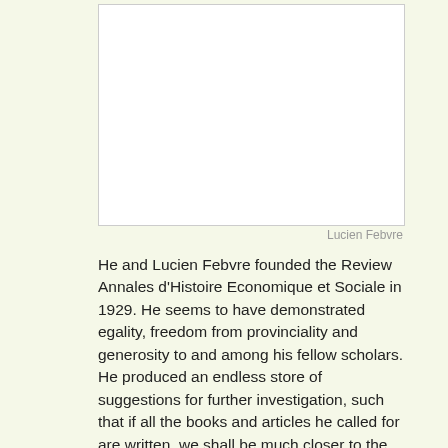[Figure (photo): A white/blank rectangular image placeholder representing a portrait photo of Lucien Febvre]
Lucien Febvre
He and Lucien Febvre founded the Review Annales d'Histoire Economique et Sociale in 1929. He seems to have demonstrated egality, freedom from provinciality and generosity to and among his fellow scholars. He produced an endless store of suggestions for further investigation, such that if all the books and articles he called for are written, we shall be much closer to the history